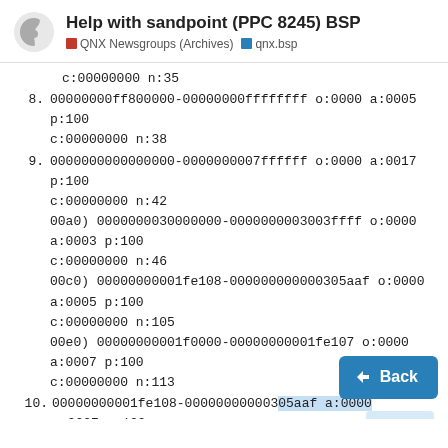Help with sandpoint (PPC 8245) BSP | QNX Newsgroups (Archives) | qnx.bsp
c:00000000 n:35
8. 00000000ff800000-00000000ffffffff o:0000 a:0005
   p:100
   c:00000000 n:38
9. 0000000000000000-0000000007ffffff o:0000 a:0017
   p:100
   c:00000000 n:42
   00a0) 0000000030000000-0000000003003ffff o:0000
   a:0003 p:100
   c:00000000 n:46
   00c0) 00000000001fe108-000000000000305aaf o:0000
   a:0005 p:100
   c:00000000 n:105
   00e0) 00000000001f0000-00000000001fe107 o:0000
   a:0007 p:100
   c:00000000 n:113
10. 00000000001fe108-000000000003 5aaf a:0000
    a:0007 p:100
    c:00000000 n:121